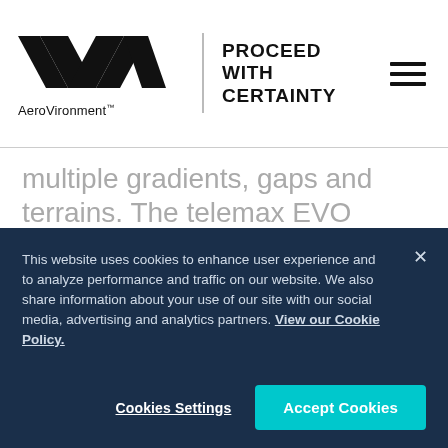[Figure (logo): AeroVironment logo with stylized AV letters and tagline PROCEED WITH CERTAINTY]
multiple gradients, gaps and terrains. The telemax EVO HYBIRD is also equipped with HD Pan/Tilt/Zoom cameras that produce razor-sharp images with four simultaneous video feeds.
To learn more about Telerab, an
This website uses cookies to enhance user experience and to analyze performance and traffic on our website. We also share information about your use of our site with our social media, advertising and analytics partners. View our Cookie Policy.